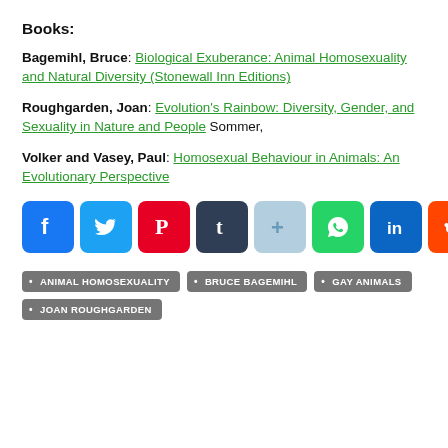Books:
Bagemihl, Bruce: Biological Exuberance: Animal Homosexuality and Natural Diversity (Stonewall Inn Editions)
Roughgarden, Joan: Evolution's Rainbow: Diversity, Gender, and Sexuality in Nature and People Sommer,
Volker and Vasey, Paul: Homosexual Behaviour in Animals: An Evolutionary Perspective
[Figure (infographic): Row of social media share buttons: Facebook, Twitter, Pinterest, Tumblr, AddThis, WhatsApp, LinkedIn, Reddit, Share]
ANIMAL HOMOSEXUALITY
BRUCE BAGEMIHL
GAY ANIMALS
JOAN ROUGHGARDEN